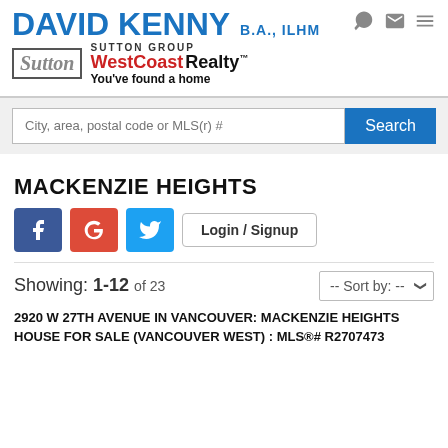DAVID KENNY B.A., ILHM — Sutton Group WestCoast Realty™ You've found a home
City, area, postal code or MLS(r) # — Search
MACKENZIE HEIGHTS
Login / Signup
Showing: 1-12 of 23
2920 W 27TH AVENUE IN VANCOUVER: MACKENZIE HEIGHTS HOUSE FOR SALE (VANCOUVER WEST) : MLS®# R2707473